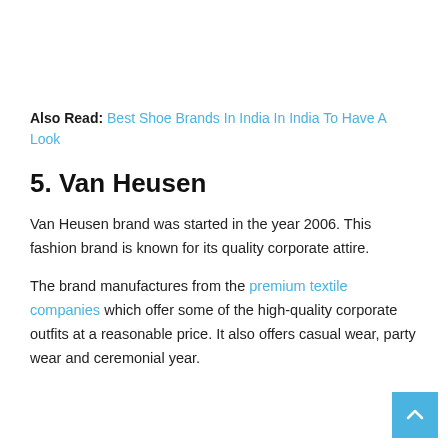Also Read: Best Shoe Brands In India In India To Have A Look
5. Van Heusen
Van Heusen brand was started in the year 2006. This fashion brand is known for its quality corporate attire.
The brand manufactures from the premium textile companies which offer some of the high-quality corporate outfits at a reasonable price. It also offers casual wear, party wear and ceremonial year.